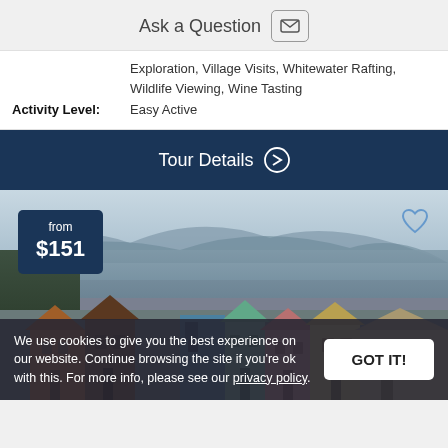Ask a Question
Exploration, Village Visits, Whitewater Rafting, Wildlife Viewing, Wine Tasting
Activity Level: Easy Active
Tour Details →
[Figure (photo): Colorful hillside houses overlooking a bay with mountains in the background. Price badge showing 'from $151' in top left corner. Heart/favorite icon in top right corner.]
We use cookies to give you the best experience on our website. Continue browsing the site if you're ok with this. For more info, please see our privacy policy.